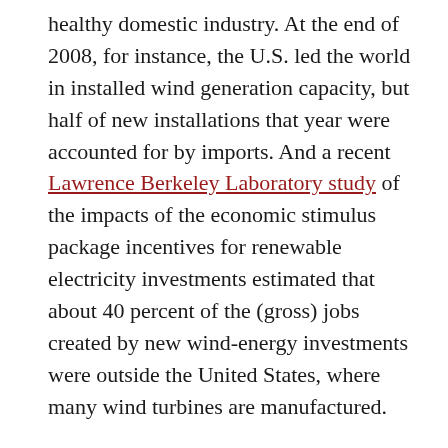healthy domestic industry. At the end of 2008, for instance, the U.S. led the world in installed wind generation capacity, but half of new installations that year were accounted for by imports. And a recent Lawrence Berkeley Laboratory study of the impacts of the economic stimulus package incentives for renewable electricity investments estimated that about 40 percent of the (gross) jobs created by new wind-energy investments were outside the United States, where many wind turbines are manufactured.
A sounder approach, for those concerned about green jobs, would focus on the long-term determinants of economic growth, such as